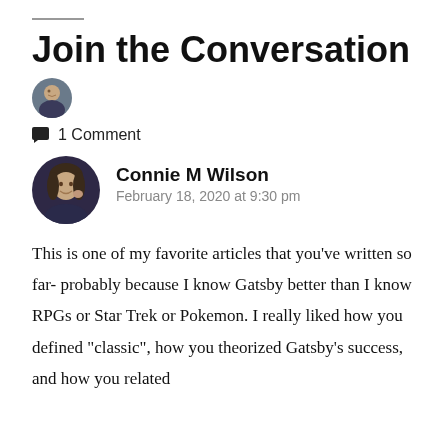Join the Conversation
1 Comment
[Figure (photo): Small circular avatar photo of a person]
[Figure (photo): Larger circular avatar photo of Connie M Wilson]
Connie M Wilson
February 18, 2020 at 9:30 pm
This is one of my favorite articles that you’ve written so far- probably because I know Gatsby better than I know RPGs or Star Trek or Pokemon. I really liked how you defined “classic”, how you theorized Gatsby’s success, and how you related